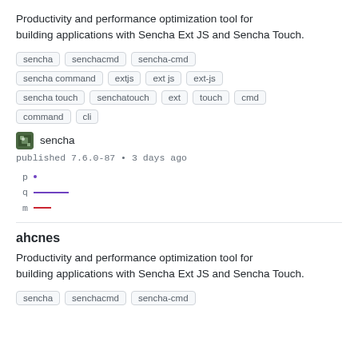Productivity and performance optimization tool for building applications with Sencha Ext JS and Sencha Touch.
sencha  senchacmd  sencha-cmd
sencha command  extjs  ext js  ext-js
sencha touch  senchatouch  ext  touch  cmd
command  cli
sencha
published 7.6.0-87 • 3 days ago
[Figure (infographic): Score chart with p, q, m labels and colored bars/dots: p has a blue dot, q has a purple bar, m has a red bar]
ahcnes
Productivity and performance optimization tool for building applications with Sencha Ext JS and Sencha Touch.
sencha  senchacmd  sencha-cmd